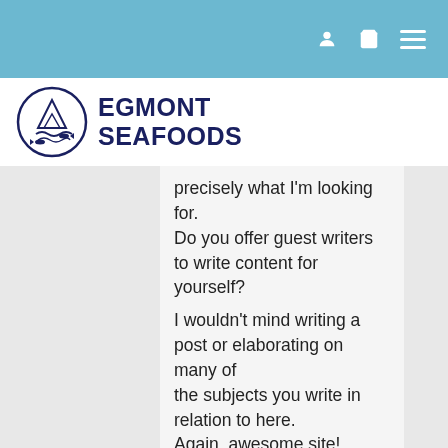Egmont Seafoods website header with user, cart, and menu icons
[Figure (logo): Egmont Seafoods logo: circular emblem with fish and waves above text EGMONT SEAFOODS in dark navy bold.]
precisely what I'm looking for.
Do you offer guest writers to write content for yourself?

I wouldn't mind writing a post or elaborating on many of
the subjects you write in relation to here.
Again, awesome site!
banks says: